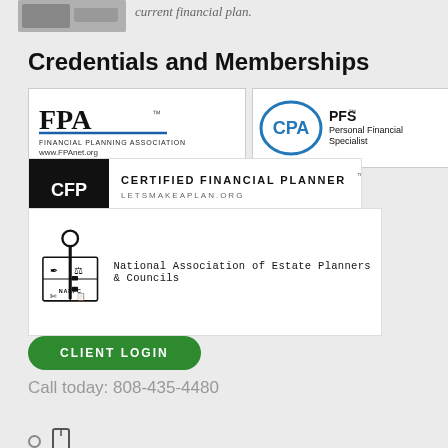current financial plan.
Credentials and Memberships
[Figure (logo): FPA Financial Planning Association logo with www.FPAnet.org]
[Figure (logo): CPA PFS Personal Financial Specialist logo]
[Figure (logo): CFP Certified Financial Planner letsmakeaplan.org logo]
[Figure (logo): NAEPC National Association of Estate Planners & Councils logo]
CLIENT LOGIN
Call today: 808-435-4480